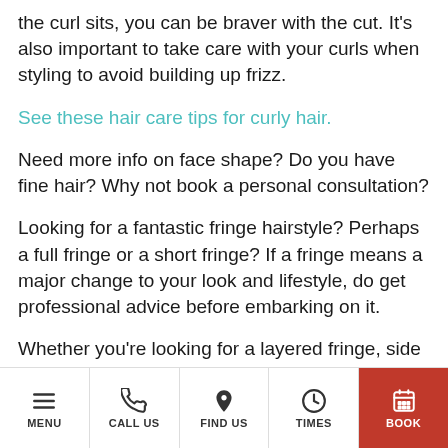the curl sits, you can be braver with the cut. It's also important to take care with your curls when styling to avoid building up frizz.
See these hair care tips for curly hair.
Need more info on face shape? Do you have fine hair? Why not book a personal consultation?
Looking for a fantastic fringe hairstyle? Perhaps a full fringe or a short fringe? If a fringe means a major change to your look and lifestyle, do get professional advice before embarking on it.
Whether you're looking for a layered fringe, side swept fringe, rounded fringe, curtain fringe
MENU | CALL US | FIND US | TIMES | BOOK